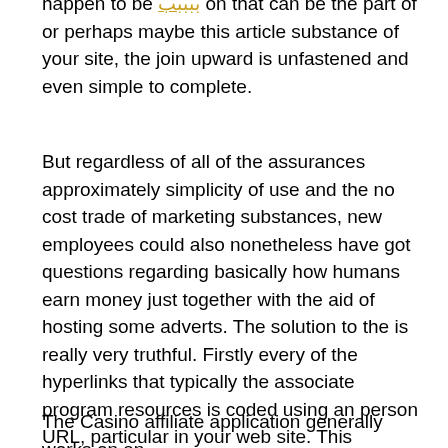happen to be [link] on that can be the part of or perhaps maybe this article substance of your site, the join upward is unfastened and even simple to complete.
But regardless of all of the assurances approximately simplicity of use and the no cost trade of marketing substances, new employees could also nonetheless have got questions regarding basically how humans earn money just together with the aid of hosting some adverts. The solution to the is really very truthful. Firstly every of the hyperlinks that typically the associate program resources is coded using an person URL, particular in your web site. This identifies whilst a player joins the casino merely which website online has forwarded them on. The gamer can then end up being assigned an guy or woman signal, so one can easily then mark out there everytime they enjoy, how plenty funds has become generated with regard to you.
The Casino affiliate application generally works on an